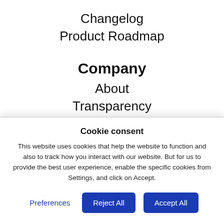Changelog
Product Roadmap
Company
About
Transparency
Careers
Cookie consent
This website uses cookies that help the website to function and also to track how you interact with our website. But for us to provide the best user experience, enable the specific cookies from Settings, and click on Accept.
Preferences
Reject All
Accept All